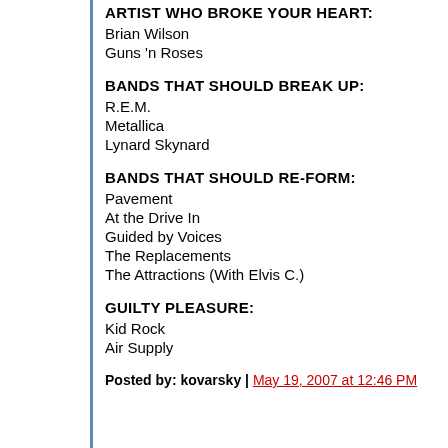ARTIST WHO BROKE YOUR HEART:
Brian Wilson
Guns 'n Roses
BANDS THAT SHOULD BREAK UP:
R.E.M.
Metallica
Lynard Skynard
BANDS THAT SHOULD RE-FORM:
Pavement
At the Drive In
Guided by Voices
The Replacements
The Attractions (With Elvis C.)
GUILTY PLEASURE:
Kid Rock
Air Supply
Posted by: kovarsky | May 19, 2007 at 12:46 PM